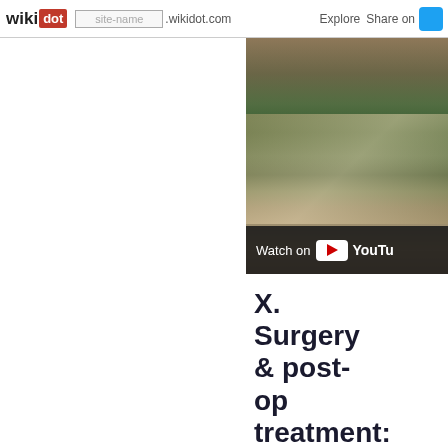wikidot | site-name .wikidot.com | Explore | Share on
[Figure (screenshot): YouTube video thumbnail showing people in stadium seating, with 'Watch on YouTube' overlay bar at the bottom.]
X. Surgery & post-op treatment:
Surgical treatment in LGBD has